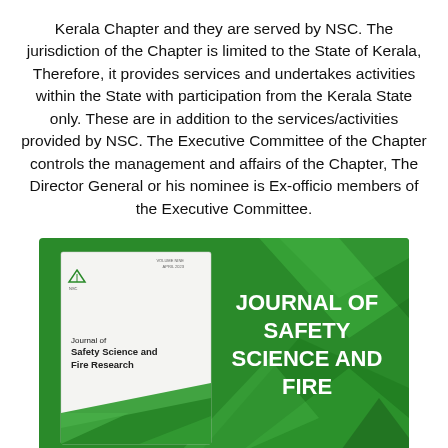Kerala Chapter and they are served by NSC. The jurisdiction of the Chapter is limited to the State of Kerala, Therefore, it provides services and undertakes activities within the State with participation from the Kerala State only. These are in addition to the services/activities provided by NSC. The Executive Committee of the Chapter controls the management and affairs of the Chapter, The Director General or his nominee is Ex-officio members of the Executive Committee.
[Figure (illustration): Image showing the cover of 'Journal of Safety Science and Fire Research' — a white journal cover on the left with a green triangle logo and bold title text, and a green geometric background on the right with white bold text reading 'JOURNAL OF SAFETY SCIENCE AND FIRE' (partially visible).]